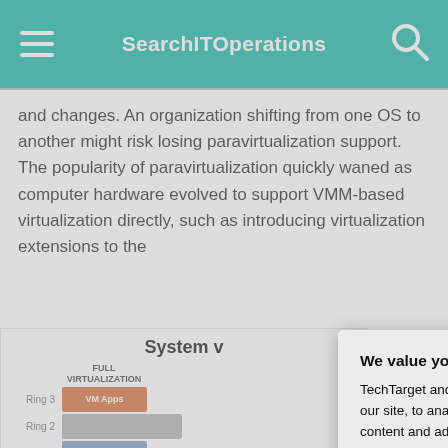SearchITOperations
and changes. An organization shifting from one OS to another might risk losing paravirtualization support. The popularity of paravirtualization quickly waned as computer hardware evolved to support VMM-based virtualization directly, such as introducing virtualization extensions to the
[Figure (infographic): System virtualization diagram showing Full Virtualization rings: Ring 3 (VM Apps, orange), Ring 2 (gray bar), Ring 1 (Guest OS, light blue), Ring 0 (VMM, dark blue)]
Before hardware  accomplished us